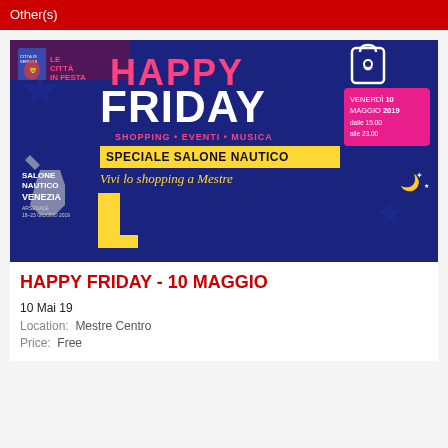Other(s)
[Figure (illustration): Happy Friday event banner for 10 Maggio 2019. Dark blue background with white and yellow text. Large text reads HAPPY FRIDAY with shopping bag icon. Subtitle: SHOPPING • EVENTI • MUSICA. Yellow banner: SPECIALE SALONE NAUTICO. Features Salone Nautico Venezia lion logo. Date: Venerdì 10 MAGGIO 2019, dalle 15.00 alle 23.00. Text: Le vie del centro di Mestre accolgono e presentano il prossimo Salone Nautico di Venezia. Scopri le vetrine destinate, spettacoli, musica, promozioni commerciali ed in Piazza Ferretto stand, info point, merchandising, gadgets dedicati all'evento. Vivi lo shopping a Mestre.]
HAPPY FRIDAY - 10 MAGGIO
10 Mai 19
Location: Mestre Centro
Price: Free